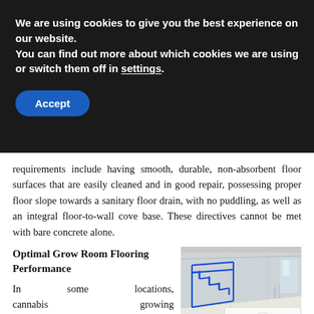We are using cookies to give you the best experience on our website.
You can find out more about which cookies we are using or switch them off in settings.
Accept
requirements include having smooth, durable, non-absorbent floor surfaces that are easily cleaned and in good repair, possessing proper floor slope towards a sanitary floor drain, with no puddling, as well as an integral floor-to-wall cove base. These directives cannot be met with bare concrete alone.
Optimal Grow Room Flooring Performance
In some locations, cannabis growing facilities are already subject to strict building
[Figure (photo): Industrial interior with blue metal staircase railing and smooth light-colored epoxy floor in a large facility.]